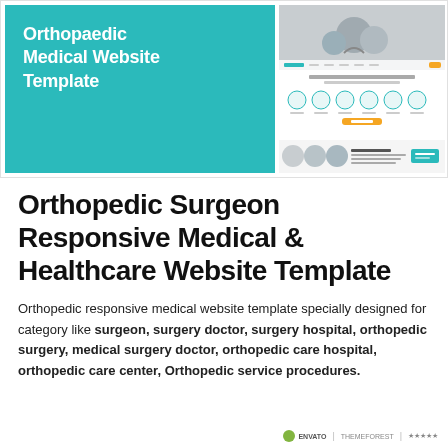[Figure (screenshot): Website template preview screenshot showing Orthopaedic Medical Website Template with teal left panel and website mockup on right]
Orthopedic Surgeon Responsive Medical & Healthcare Website Template
Orthopedic responsive medical website template specially designed for category like surgeon, surgery doctor, surgery hospital, orthopedic surgery, medical surgery doctor, orthopedic care hospital, orthopedic care center, Orthopedic service procedures.